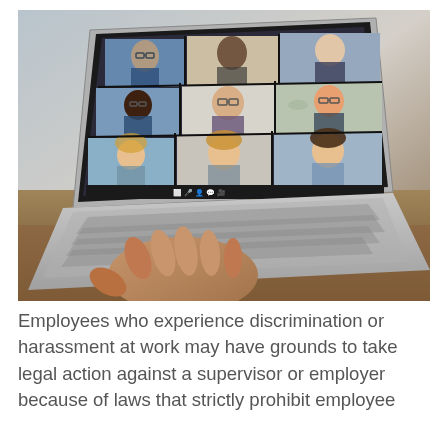[Figure (photo): A person's hand typing on a laptop keyboard. The laptop screen displays a video conference call with 8 participants shown in a 3x3 grid (one cell empty), showing diverse people including men and women of various ethnicities, some wearing glasses. The background shows a blurred office/home setting.]
Employees who experience discrimination or harassment at work may have grounds to take legal action against a supervisor or employer because of laws that strictly prohibit employee